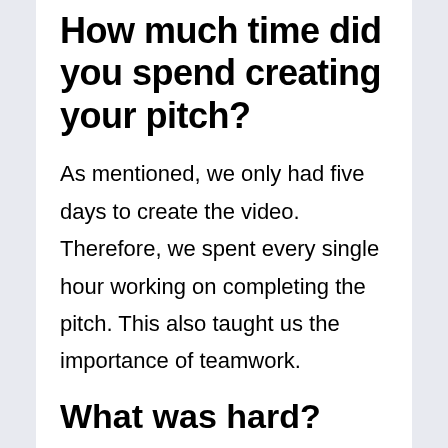How much time did you spend creating your pitch?
As mentioned, we only had five days to create the video. Therefore, we spent every single hour working on completing the pitch. This also taught us the importance of teamwork.
What was hard?